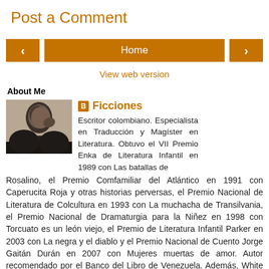Post a Comment
< Home >
View web version
About Me
[Figure (photo): Black and white portrait photo of a person]
Ficciones
Escritor colombiano. Especialista en Traducción y Magíster en Literatura. Obtuvo el VII Premio Enka de Literatura Infantil en 1989 con Las batallas de Rosalino, el Premio Comfamiliar del Atlántico en 1991 con Caperucita Roja y otras historias perversas, el Premio Nacional de Literatura de Colcultura en 1993 con La muchacha de Transilvania, el Premio Nacional de Dramaturgia para la Niñez en 1998 con Torcuato es un león viejo, el Premio de Literatura Infantil Parker en 2003 con La negra y el diablo y el Premio Nacional de Cuento Jorge Gaitán Durán en 2007 con Mujeres muertas de amor. Autor recomendado por el Banco del Libro de Venezuela. Además, White Ravens 2014 por El niño gato. Premio Fundación Cuatro Gatos